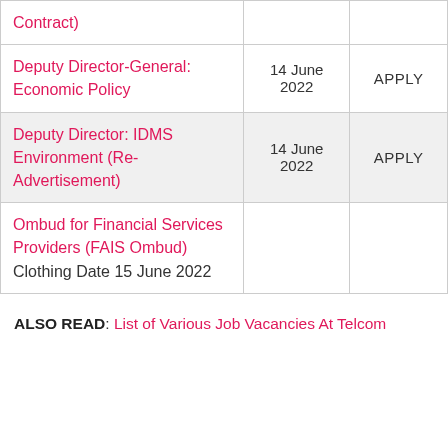| Position | Closing Date | Action |
| --- | --- | --- |
| (Contract) |  |  |
| Deputy Director-General: Economic Policy | 14 June 2022 | APPLY |
| Deputy Director: IDMS Environment (Re-Advertisement) | 14 June 2022 | APPLY |
| Ombud for Financial Services Providers (FAIS Ombud) Clothing Date 15 June 2022 |  |  |
ALSO READ: List of Various Job Vacancies At Telcom